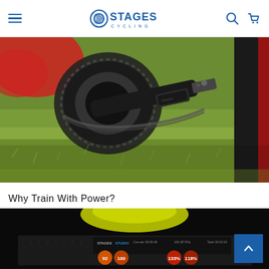Stages Cycling - navigation header with hamburger menu, logo, search and cart icons
[Figure (photo): Close-up photograph of a bicycle crank arm with a Stages power meter attached, set against a grassy green background. A Bontrager wheel is visible on the right side. Red frame element visible at top left.]
Why Train With Power?
[Figure (photo): Dark photo showing a Stages Studio cycling interface screen displaying metrics including cadence, power output, and heart rate values, with yellow/green helmet visible above.]